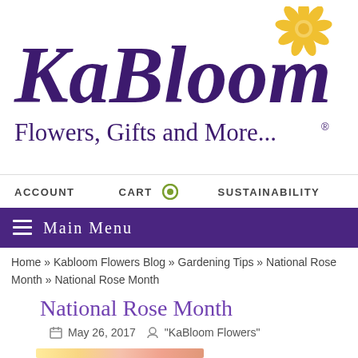[Figure (logo): KaBloom logo with stylized purple script lettering and yellow daisy flower graphic, tagline 'Flowers, Gifts and More...' with registered trademark symbol]
ACCOUNT   CART   SUSTAINABILITY
≡ Main Menu
Home » Kabloom Flowers Blog » Gardening Tips » National Rose Month » National Rose Month
National Rose Month
May 26, 2017  "KaBloom Flowers"
[Figure (photo): Partial view of colorful roses photo at bottom of page]